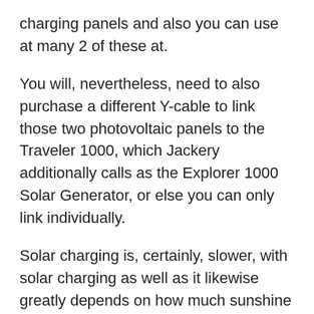charging panels and also you can use at many 2 of these at.
You will, nevertheless, need to also purchase a different Y-cable to link those two photovoltaic panels to the Traveler 1000, which Jackery additionally calls as the Explorer 1000 Solar Generator, or else you can only link individually.
Solar charging is, certainly, slower, with solar charging as well as it likewise greatly depends on how much sunshine is readily available outdoors. With a single panel, you can only get 85W on a bright and also bright day as well as 30W max on an overcast one. With 2 panels together, the output increased to 120W under the full force of the sunlight.